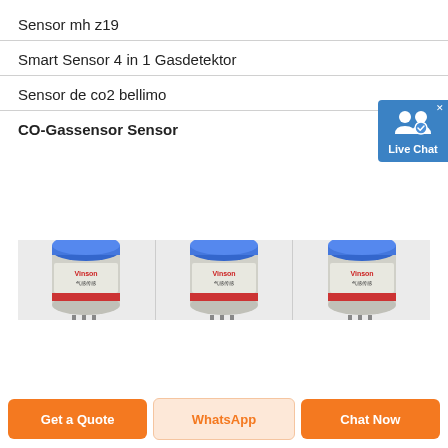Sensor mh z19
Smart Sensor 4 in 1 Gasdetektor
Sensor de co2 bellimo
CO-Gassensor Sensor
[Figure (photo): Three identical small cylindrical electronic gas sensors (Vinson brand) displayed side by side on a grey background]
Get a Quote | WhatsApp | Chat Now